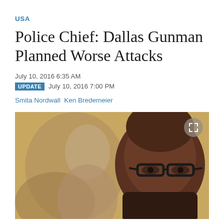USA
Police Chief: Dallas Gunman Planned Worse Attacks
July 10, 2016 6:35 AM
UPDATE July 10, 2016 7:00 PM
Smita Nordwall  Ken Bredemeier
[Figure (photo): Close-up photo of an African-American man wearing dark-framed glasses, with another person visible in the background, taken at what appears to be a press conference. Background is blurred warm tan/beige tones.]